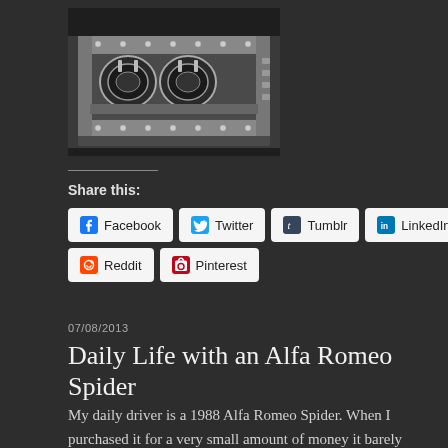[Figure (photo): Engine bay photo showing Alfa Romeo cylinder head with multiple carburetors or throttle bodies visible, black and white or desaturated tones]
Share this:
Facebook  Twitter  Tumblr  LinkedIn  Reddit  Pinterest
07/08/2013
Daily Life with an Alfa Romeo Spider
My daily driver is a 1988 Alfa Romeo Spider. When I purchased it for a very small amount of money it barely